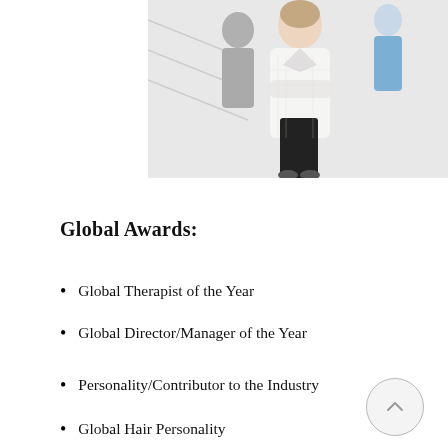[Figure (photo): Two people standing together in a bright indoor setting, one wearing a white blazer and black pants, another in a light blue top. Background shows white walls and partial figures.]
Global Awards:
Global Therapist of the Year
Global Director/Manager of the Year
Personality/Contributor to the Industry
Global Hair Personality
Global Wellness Personality
CSR Contributor...